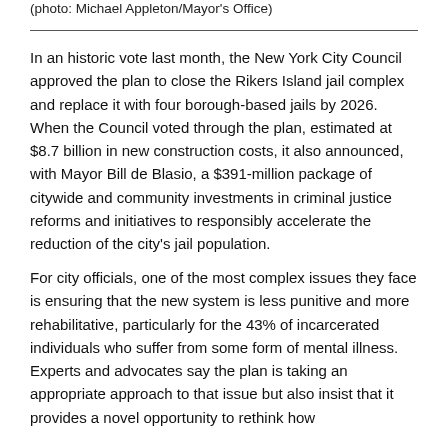(photo: Michael Appleton/Mayor's Office)
In an historic vote last month, the New York City Council approved the plan to close the Rikers Island jail complex and replace it with four borough-based jails by 2026. When the Council voted through the plan, estimated at $8.7 billion in new construction costs, it also announced, with Mayor Bill de Blasio, a $391-million package of citywide and community investments in criminal justice reforms and initiatives to responsibly accelerate the reduction of the city's jail population.
For city officials, one of the most complex issues they face is ensuring that the new system is less punitive and more rehabilitative, particularly for the 43% of incarcerated individuals who suffer from some form of mental illness. Experts and advocates say the plan is taking an appropriate approach to that issue but also insist that it provides a novel opportunity to rethink how